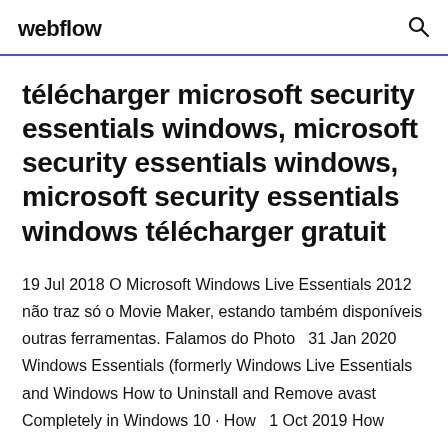webflow
télécharger microsoft security essentials windows, microsoft security essentials windows, microsoft security essentials windows télécharger gratuit
19 Jul 2018 O Microsoft Windows Live Essentials 2012 não traz só o Movie Maker, estando também disponíveis outras ferramentas. Falamos do Photo  31 Jan 2020 Windows Essentials (formerly Windows Live Essentials and Windows How to Uninstall and Remove avast Completely in Windows 10 · How  1 Oct 2019 How